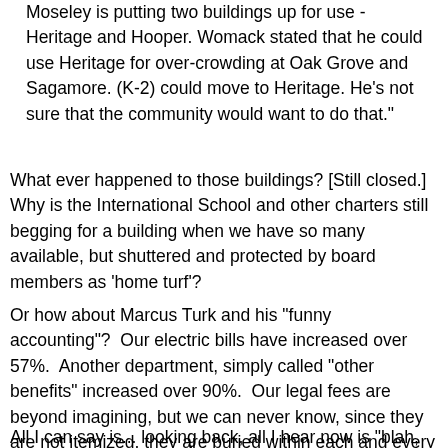Moseley is putting two buildings up for use - Heritage and Hooper. Womack stated that he could use Heritage for over-crowding at Oak Grove and Sagamore. (K-2) could move to Heritage. He's not sure that the community would want to do that."
What ever happened to those buildings? [Still closed.] Why is the International School and other charters still begging for a building when we have so many available, but shuttered and protected by board members as 'home turf'?
Or how about Marcus Turk and his "funny accounting"?  Our electric bills have increased over 57%.  Another department, simply called "other benefits" increased over 90%.  Our legal fees are beyond imagining, but we can never know, since they are not itemized, they are buried within each and every budget line. What a farce!  This is taxpayer money – you, Mr. Turk, need to tell us where it's going.  Real CFOs are clean - and unafraid of things like Online Check Registers.  What's the holdup with that idea, Turk? Tyson? Babst?
All I can say is... looking back, all I hear now is "blah, blah